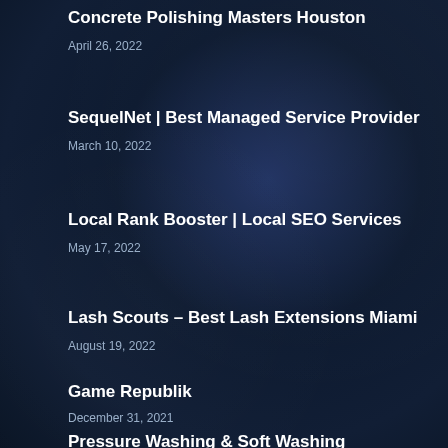Concrete Polishing Masters Houston
April 26, 2022
SequelNet | Best Managed Service Provider
March 10, 2022
Local Rank Booster | Local SEO Services
May 17, 2022
Lash Scouts – Best Lash Extensions Miami
August 19, 2022
Game Republik
December 31, 2021
Pressure Washing & Soft Washing